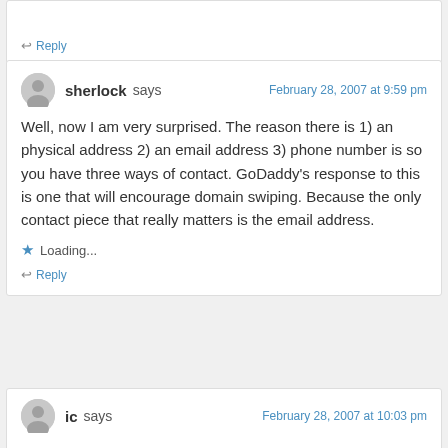↩ Reply
sherlock says — February 28, 2007 at 9:59 pm
Well, now I am very surprised. The reason there is 1) an physical address 2) an email address 3) phone number is so you have three ways of contact. GoDaddy's response to this is one that will encourage domain swiping. Because the only contact piece that really matters is the email address.
Loading...
↩ Reply
ic says — February 28, 2007 at 10:03 pm